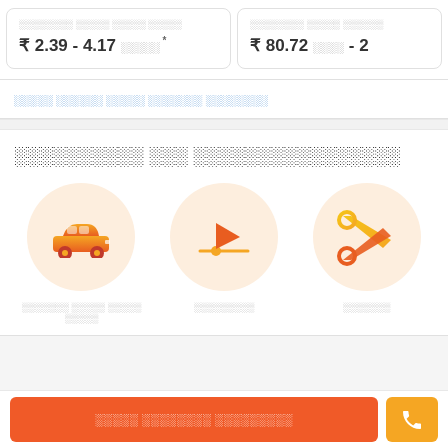₹ 2.39 - 4.17 █████ *
₹ 80.72 ████ - 2
█████ ██████ █████ ███████ ████████
██████████ ███ ████████████████
[Figure (illustration): Orange car icon in circular background]
[Figure (illustration): Play button / video icon in circular background]
[Figure (illustration): Orange scissors/tool icon in circular background]
███████ █████ █████ █████
█████████
███████
█████ ████████ █████████